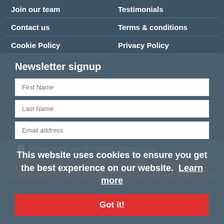Join our team
Testimonials
Contact us
Terms & conditions
Cookie Policy
Privacy Policy
Newsletter signup
First Name
Last Name
Email address
Please confirm you have read our privacy policy.
Submit
This website uses cookies to ensure you get the best experience on our website.  Learn more
Got it!
Copyright Bristol Tourism Partnership, trading as Bristol e-Innovates Designs
Registered Address : The Old School House, 75a Jacobs Wells Road, Clifton, Bristol, BS8 1DD